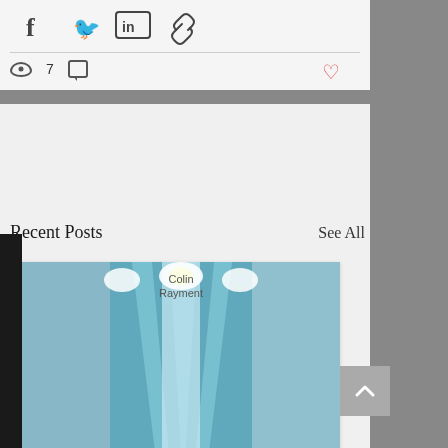[Figure (screenshot): Social share icons row: Facebook (f), Twitter bird, LinkedIn (in), link icon]
7  [comment icon]  [heart icon]
Recent Posts    See All
[Figure (photo): Cyan-toned architectural interior looking up at a symmetrical hall with bright lights and angular columns. Overlay text reads 'Colin Rayment'.]
COLIN RAYMENT: Equilibrium (2022)
498  0  3 [heart]